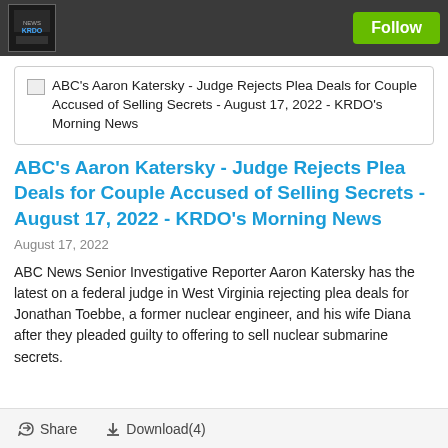KRDO News Center — Follow button
[Figure (screenshot): Preview thumbnail card with image icon and text: ABC's Aaron Katersky - Judge Rejects Plea Deals for Couple Accused of Selling Secrets - August 17, 2022 - KRDO's Morning News]
ABC's Aaron Katersky - Judge Rejects Plea Deals for Couple Accused of Selling Secrets - August 17, 2022 - KRDO's Morning News
August 17, 2022
ABC News Senior Investigative Reporter Aaron Katersky has the latest on a federal judge in West Virginia rejecting plea deals for Jonathan Toebbe, a former nuclear engineer, and his wife Diana after they pleaded guilty to offering to sell nuclear submarine secrets.
Share   Download(4)